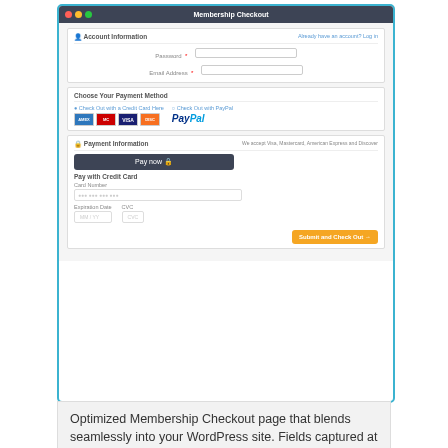[Figure (screenshot): Browser screenshot of a Membership Checkout page showing account information fields, payment method selection (credit card with Amex, MasterCard, Visa, Discover and PayPal options), payment information section with Pay Now button, credit card number and expiration date fields, and a Submit and Check Out button.]
Optimized Membership Checkout page that blends seamlessly into your WordPress site. Fields captured at checkout can be modified with other Add Ons.
[Figure (screenshot): Row of five thumbnail screenshots showing different views of the membership plugin interface.]
中文文字